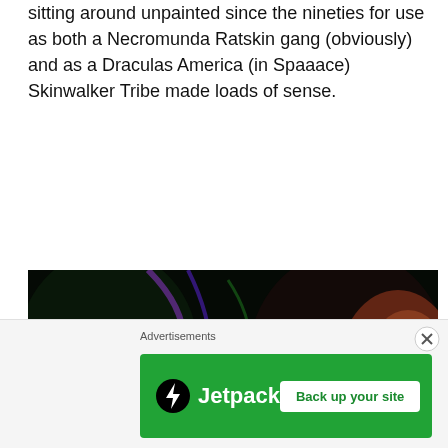sitting around unpainted since the nineties for use as both a Necromunda Ratskin gang (obviously) and as a Draculas America (in Spaaace) Skinwalker Tribe made loads of sense.
[Figure (photo): Group of figures wearing skull face paint under black light / UV lighting, creating vivid neon green, orange, and blue colors on their faces and costumes against a dark background.]
Advertisements
[Figure (logo): Jetpack advertisement banner with green background. Left side shows Jetpack logo (circular icon with lightning bolt and 'Jetpack' text). Right side has a white button reading 'Back up your site'.]